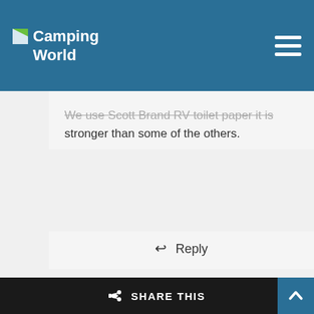Camping World
We use Scott Brand RV toilet paper it is stronger than some of the others.
Reply
[Figure (illustration): Generic user avatar placeholder - gray silhouette of person]
Roger
February 14, 2020 at 1:20 pm
SHARE THIS